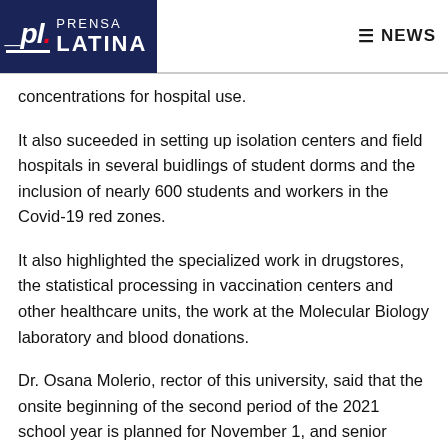Prensa Latina NEWS
concentrations for hospital use.
It also suceeded in setting up isolation centers and field hospitals in several buidlings of student dorms and the inclusion of nearly 600 students and workers in the Covid-19 red zones.
It also highlighted the specialized work in drugstores, the statistical processing in vaccination centers and other healthcare units, the work at the Molecular Biology laboratory and blood donations.
Dr. Osana Molerio, rector of this university, said that the onsite beginning of the second period of the 2021 school year is planned for November 1, and senior